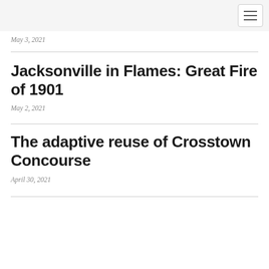May 3, 2021
Jacksonville in Flames: Great Fire of 1901
May 2, 2021
The adaptive reuse of Crosstown Concourse
April 30, 2021